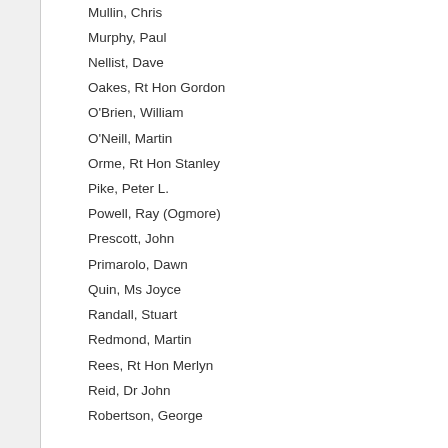Mullin, Chris
Murphy, Paul
Nellist, Dave
Oakes, Rt Hon Gordon
O'Brien, William
O'Neill, Martin
Orme, Rt Hon Stanley
Pike, Peter L.
Powell, Ray (Ogmore)
Prescott, John
Primarolo, Dawn
Quin, Ms Joyce
Randall, Stuart
Redmond, Martin
Rees, Rt Hon Merlyn
Reid, Dr John
Robertson, George